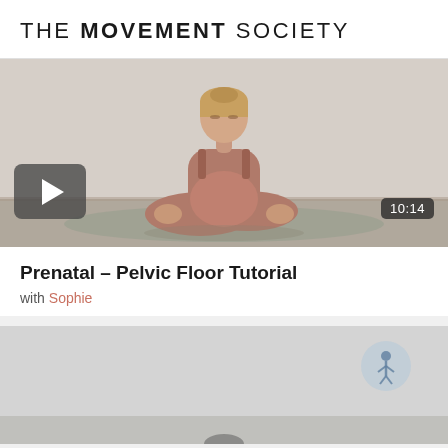THE MOVEMENT SOCIETY
[Figure (photo): Pregnant woman in terracotta/mauve sportswear sitting cross-legged on a yoga mat in a minimalist studio, eyes closed, meditating. Play button overlay bottom-left, duration badge '10:14' bottom-right.]
Prenatal – Pelvic Floor Tutorial
with Sophie
[Figure (photo): Partial view of a second video thumbnail with a light grey/studio background and a circular icon badge in the upper right corner. Bottom of frame shows a person beginning to appear.]